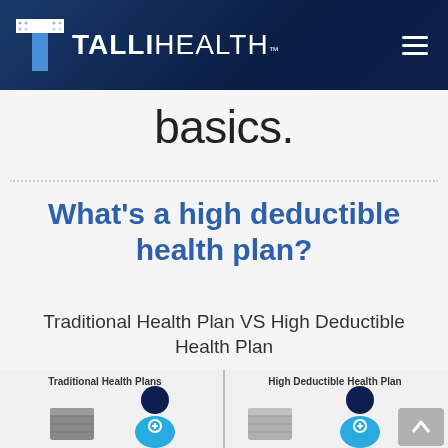TALLIHEALTH™
basics.
What's a high deductible health plan?
Traditional Health Plan VS High Deductible Health Plan
[Figure (infographic): Comparison infographic showing Traditional Health Plans on the left with a doctor and barrel/canister icons, and High Deductible Health Plan on the right with a doctor and barrel/canister icons, separated by a vertical divider line.]